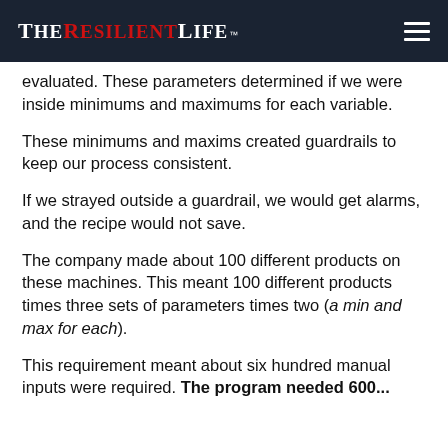The Resilient Life™
evaluated. These parameters determined if we were inside minimums and maximums for each variable.
These minimums and maxims created guardrails to keep our process consistent.
If we strayed outside a guardrail, we would get alarms, and the recipe would not save.
The company made about 100 different products on these machines. This meant 100 different products times three sets of parameters times two (a min and max for each).
This requirement meant about six hundred manual inputs were required. The program needed 600...